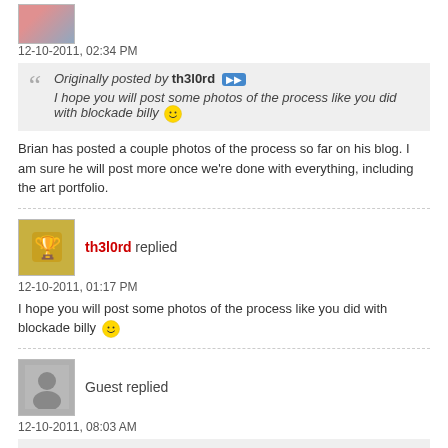[Figure (photo): Partial avatar image of a person in pink at top of page]
12-10-2011, 02:34 PM
Originally posted by th3l0rd
I hope you will post some photos of the process like you did with blockade billy
Brian has posted a couple photos of the process so far on his blog. I am sure he will post more once we're done with everything, including the art portfolio.
[Figure (photo): Avatar image of th3l0rd user (trophy/gold icon)]
th3l0rd replied
12-10-2011, 01:17 PM
I hope you will post some photos of the process like you did with blockade billy
[Figure (photo): Avatar image of Guest user (grey silhouette)]
Guest replied
12-10-2011, 08:03 AM
Originally posted by srboone
I'm not dead, yet!